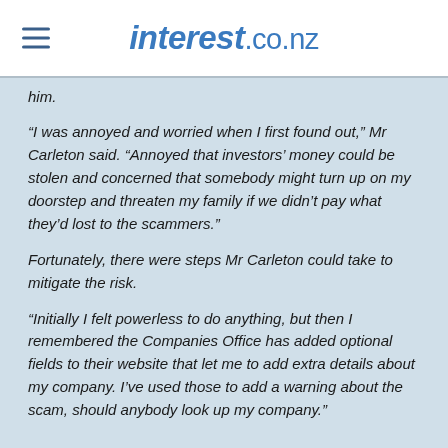interest.co.nz
him.
“I was annoyed and worried when I first found out,” Mr Carleton said. “Annoyed that investors’ money could be stolen and concerned that somebody might turn up on my doorstep and threaten my family if we didn’t pay what they’d lost to the scammers.”
Fortunately, there were steps Mr Carleton could take to mitigate the risk.
“Initially I felt powerless to do anything, but then I remembered the Companies Office has added optional fields to their website that let me to add extra details about my company. I’ve used those to add a warning about the scam, should anybody look up my company.”